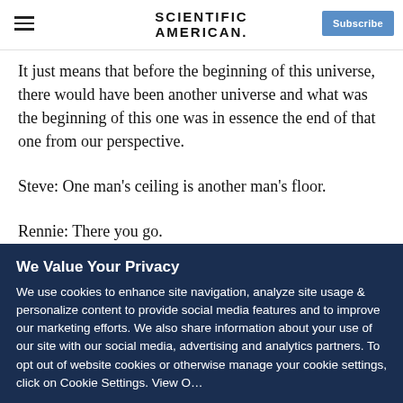Scientific American
It just means that before the beginning of this universe, there would have been another universe and what was the beginning of this one was in essence the end of that one from our perspective.
Steve: One man's ceiling is another man's floor.
Rennie: There you go.
We Value Your Privacy
We use cookies to enhance site navigation, analyze site usage & personalize content to provide social media features and to improve our marketing efforts. We also share information about your use of our site with our social media, advertising and analytics partners. To opt out of website cookies or otherwise manage your cookie settings, click on Cookie Settings. View O…